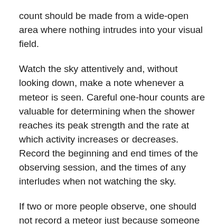count should be made from a wide-open area where nothing intrudes into your visual field.
Watch the sky attentively and, without looking down, make a note whenever a meteor is seen. Careful one-hour counts are valuable for determining when the shower reaches its peak strength and the rate at which activity increases or decreases. Record the beginning and end times of the observing session, and the times of any interludes when not watching the sky.
If two or more people observe, one should not record a meteor just because someone lets out a whoop! When groups observe, each individual's counts should be reported separately, not combined with those of others in the party; pooled results of this sort are meaningless, since they cannot be turned into a standard single-observer hourly rate.